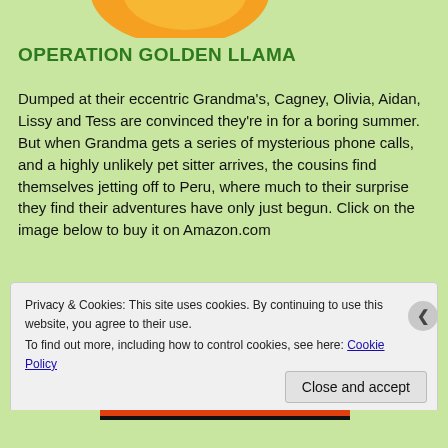[Figure (illustration): Partial orange/yellow illustration visible at top of page, appears to be part of a book cover or logo]
OPERATION GOLDEN LLAMA
Dumped at their eccentric Grandma's, Cagney, Olivia, Aidan, Lissy and Tess are convinced they're in for a boring summer. But when Grandma gets a series of mysterious phone calls, and a highly unlikely pet sitter arrives, the cousins find themselves jetting off to Peru, where much to their surprise they find their adventures have only just begun. Click on the image below to buy it on Amazon.com
Privacy & Cookies: This site uses cookies. By continuing to use this website, you agree to their use.
To find out more, including how to control cookies, see here: Cookie Policy
Close and accept